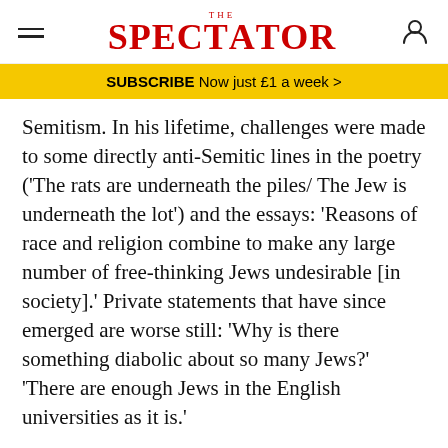THE SPECTATOR
SUBSCRIBE Now just £1 a week >
Semitism. In his lifetime, challenges were made to some directly anti-Semitic lines in the poetry ('The rats are underneath the piles/ The Jew is underneath the lot') and the essays: 'Reasons of race and religion combine to make any large number of free-thinking Jews undesirable [in society].' Private statements that have since emerged are worse still: 'Why is there something diabolic about so many Jews?' 'There are enough Jews in the English universities as it is.'
Many similar statements can be found in other writers, but what puts Eliot on another level was